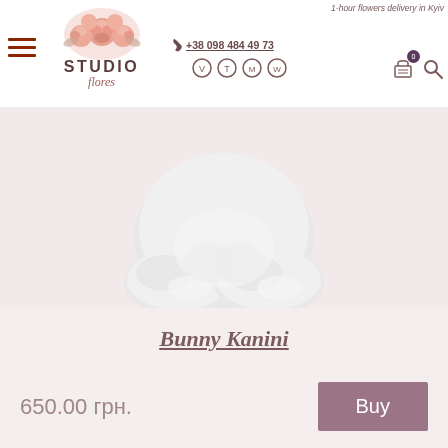1-hour flowers delivery in Kyiv
[Figure (logo): Studio Flores logo with pink floral arrangement above text]
+38 098 484 49 73
[Figure (photo): White fluffy bunny toy (Bunny Kanini), lower portion visible showing white fuzzy feet/body on a light pink background]
Bunny Kanini
650.00 грн.
Buy